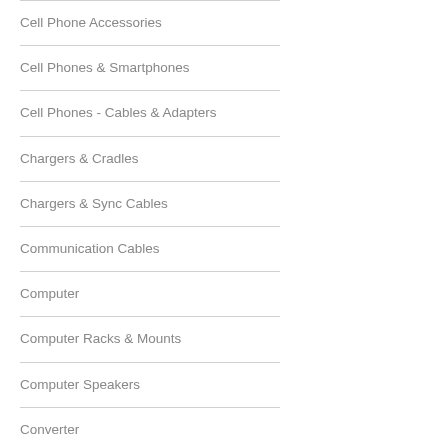Cell Phone Accessories
Cell Phones & Smartphones
Cell Phones - Cables & Adapters
Chargers & Cradles
Chargers & Sync Cables
Communication Cables
Computer
Computer Racks & Mounts
Computer Speakers
Converter
Converters
CPU Fans & Heatsinks
CPUs, Processors
Dentec